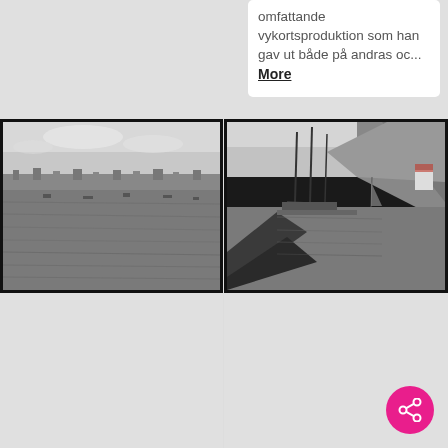omfattande vykortsproduktion som han gav ut både på andras oc... More
[Figure (photo): Black and white historical photograph of a harbor with boats on water and a small town/settlement visible on the far shore under a cloudy sky.]
[Figure (photo): Black and white historical photograph of a rocky coastal harbor with sailing ships and rocky cliffs/hills on the right side.]
UMFA55582:0153 Carl Alfred Träff som Bohusläns museum
Fotografiet ingår i en samling om dryga 1200 fotografier tagna av Carl Alfred Träff som Bohusläns museum förvärvade 2016. Träff är mest känd för sin
UMFA55582:0434 Carl Alfred Träff som Bohusläns museum
Fotografiet ingår i en samling om dryga 1200 fotografier tagna av Carl Alfred Träff som Bohusläns museum förvärvade 2016. Träff är mest känd för sin